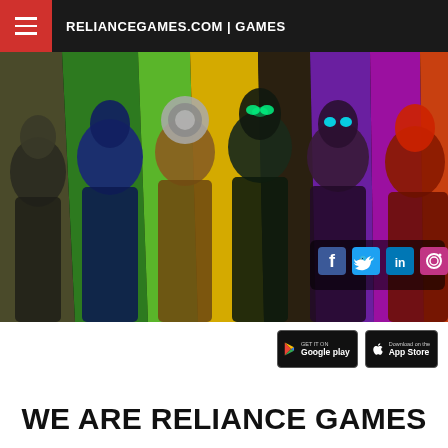RELIANCEGAMES.COM | GAMES
[Figure (illustration): Hero banner showing six colorful sci-fi/superhero characters standing side by side against vivid colored vertical stripe backgrounds (green, yellow, purple, orange). Characters include various robots, armored figures, and warriors. Social media icons (Facebook, Twitter, LinkedIn, Instagram) visible in lower right corner of the image.]
[Figure (other): Google Play and App Store download buttons]
WE ARE RELIANCE GAMES